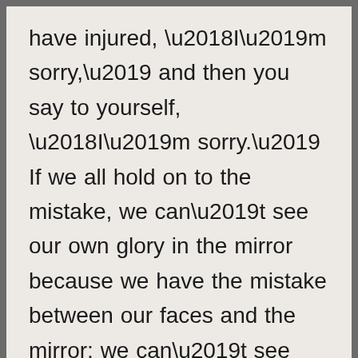have injured, ‘I’m sorry,’ and then you say to yourself, ‘I’m sorry.’ If we all hold on to the mistake, we can’t see our own glory in the mirror because we have the mistake between our faces and the mirror; we can’t see what we’re capable of being. You can ask forgiveness of others, but in the end the real forgiveness is in one’s own self. I think that young men and women are so caught by the way they see themselves. Now mind you. When a larger society sees them as